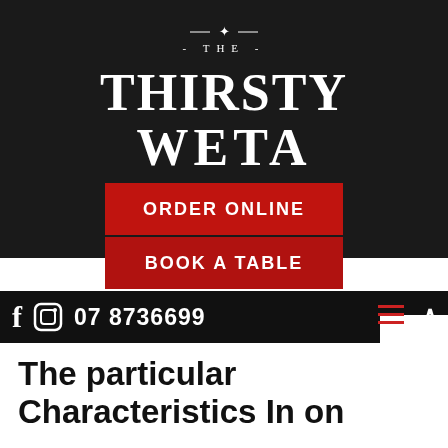[Figure (logo): The Thirsty Weta restaurant logo — white serif text on dark textured background, with small bug illustration above the text]
ORDER ONLINE
BOOK A TABLE
07 8736699
The particular Characteristics In on